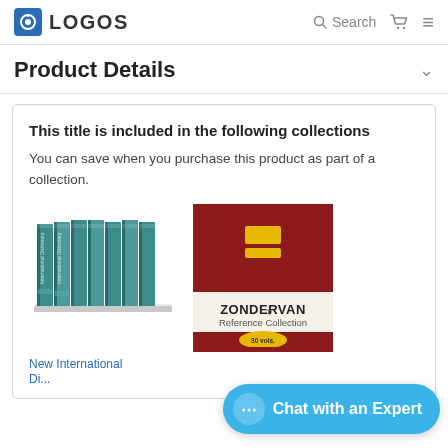LOGOS | Search
Product Details
This title is included in the following collections
You can save when you purchase this product as part of a collection.
[Figure (photo): Teal multi-volume book set (New International Dictionary series)]
[Figure (photo): Zondervan Reference Collection book cover, dark red with gold logo, 30 vols.]
New International Di...
Chat with an Expert